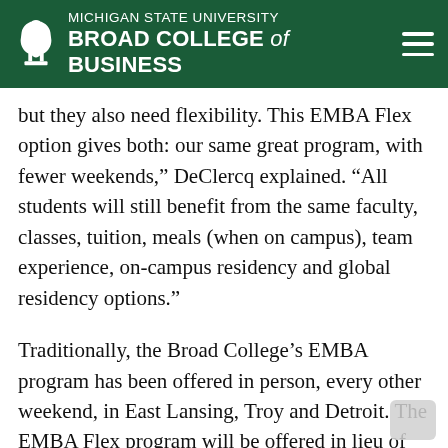Michigan State University Broad College of Business
and apply focuses. The knowledge, skills and network gained from an MBA now more than ever, but they also need flexibility. This EMBA Flex option gives both: our same great program, with fewer weekends,” DeClercq explained. “All students will still benefit from the same faculty, classes, tuition, meals (when on campus), team experience, on-campus residency and global residency options.”
Traditionally, the Broad College’s EMBA program has been offered in person, every other weekend, in East Lansing, Troy and Detroit. The EMBA Flex program will be offered in lieu of the Detroit cohort for this fall.